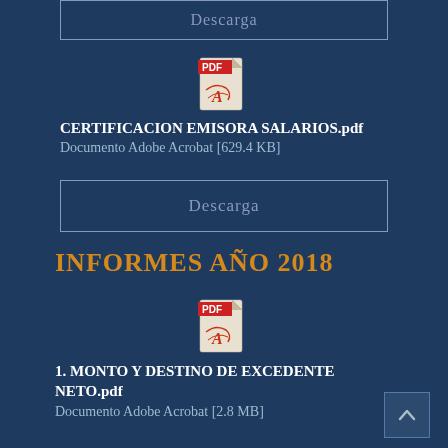Descarga
[Figure (illustration): PDF file icon with red PDF label and Adobe Acrobat logo]
CERTIFICACION EMISORA SALARIOS.pdf
Documento Adobe Acrobat [629.4 KB]
Descarga
INFORMES AÑO 2018
[Figure (illustration): PDF file icon with red PDF label and Adobe Acrobat logo]
1. MONTO Y DESTINO DE EXCEDENTE NETO.pdf
Documento Adobe Acrobat [2.8 MB]